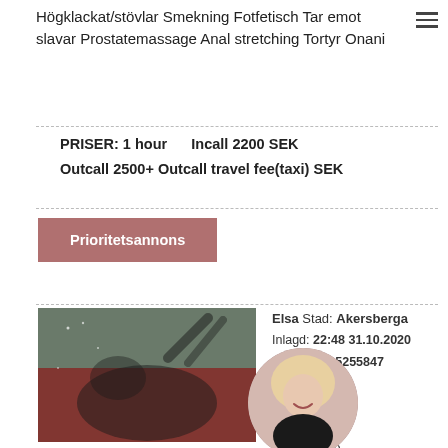Högklackat/stövlar Smekning Fotfetisch Tar emot slavar Prostatemassage Anal stretching Tortyr Onani
PRISER: 1 hour   Incall 2200 SEK
Outcall 2500+ Outcall travel fee(taxi) SEK
Prioritetsannons
Elsa Stad: Akersberga
Inlagd: 22:48 31.10.2020
Profil: 46315255847
Verification: ll:
Incall & O
Info
Telefon: +46
Ålder: 24
[Figure (photo): Woman lying on red surface wearing black lingerie]
[Figure (photo): Woman with blonde hair wearing black top - circular avatar]